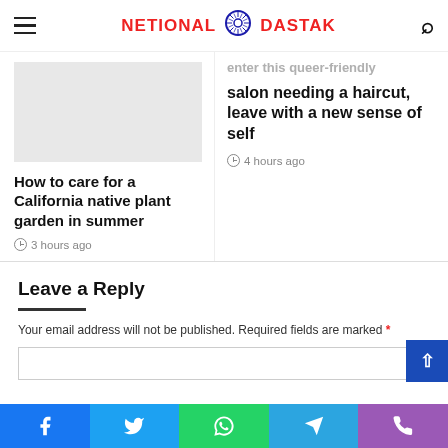NETIONAL DASTAK
How to care for a California native plant garden in summer
3 hours ago
enter this queer-friendly salon needing a haircut, leave with a new sense of self
4 hours ago
Leave a Reply
Your email address will not be published. Required fields are marked *